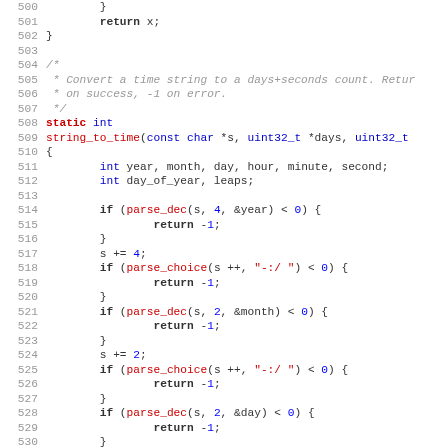Source code listing, lines 500-531, C function string_to_time